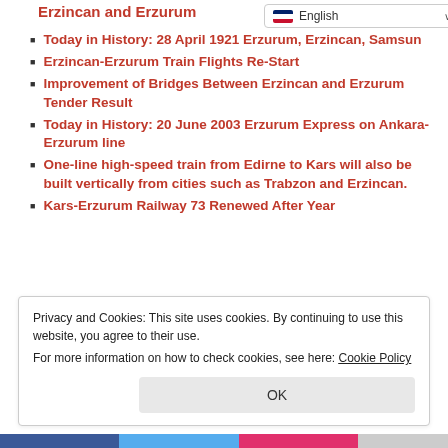Erzincan and Erzurum
Today in History: 28 April 1921 Erzurum, Erzincan, Samsun
Erzincan-Erzurum Train Flights Re-Start
Improvement of Bridges Between Erzincan and Erzurum Tender Result
Today in History: 20 June 2003 Erzurum Express on Ankara-Erzurum line
One-line high-speed train from Edirne to Kars will also be built vertically from cities such as Trabzon and Erzincan.
Kars-Erzurum Railway 73 Renewed After Year
Privacy and Cookies: This site uses cookies. By continuing to use this website, you agree to their use.
For more information on how to check cookies, see here: Cookie Policy